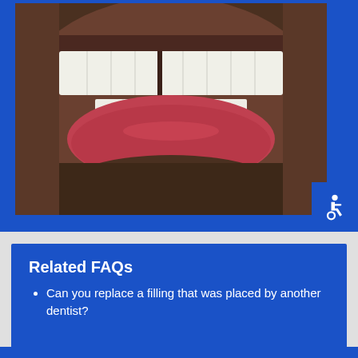[Figure (photo): Close-up photograph of a person's mouth showing teeth with a gap/missing tooth, smiling, with stubble visible on chin and upper lip area. Blue border framing the photo.]
Related FAQs
Can you replace a filling that was placed by another dentist?